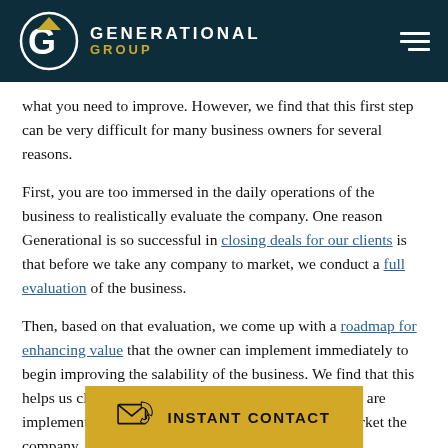Generational Group
what you need to improve. However, we find that this first step can be very difficult for many business owners for several reasons.
First, you are too immersed in the daily operations of the business to realistically evaluate the company. One reason Generational is so successful in closing deals for our clients is that before we take any company to market, we conduct a full evaluation of the business.
Then, based on that evaluation, we come up with a roadmap for enhancing value that the owner can implement immediately to begin improving the salability of the business. We find that this helps us close optimal deals for our clients even if they are implementing value-enhancing strategies while we market the company.
[Figure (infographic): Gold CTA button with envelope/phone icon and text INSTANT CONTACT]